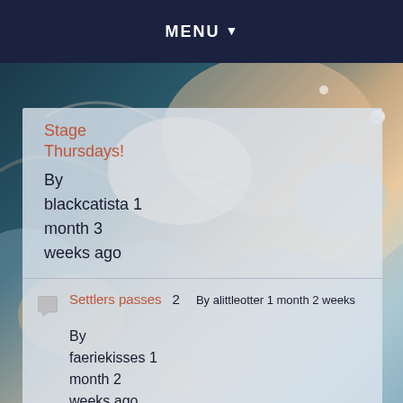MENU ▼
Stage Thursdays!
By blackcatista 1 month 3 weeks ago
Settlers passes 2 By faeriekisses 1 month 2 weeks ago — By alittleotter 1 month 2 weeks
Settlers tickets (standard, not live-in) 6 — By alittleotter 1 month 2 weeks